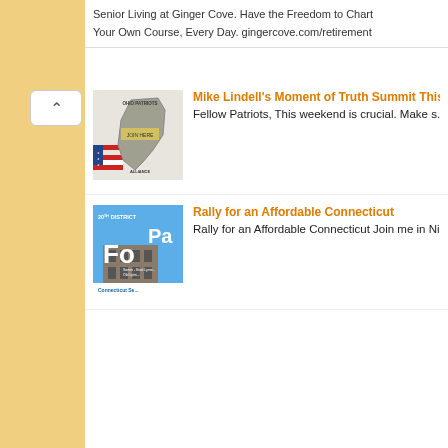Senior Living at Ginger Cove. Have the Freedom to Chart Your Own Course, Every Day. gingercove.com/retirement
Mike Lindell's Moment of Truth Summit This Weekend
Fellow Patriots, This weekend is crucial. Make s...
Rally for an Affordable Connecticut
Rally for an Affordable Connecticut Join me in Nia...